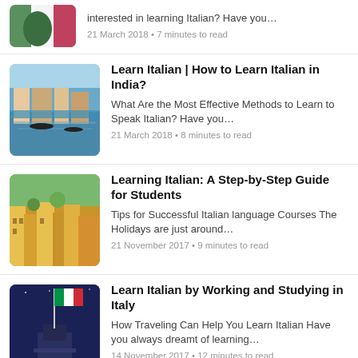[Figure (photo): Green fist with Italian flag colors, cropped at top]
interested in learning Italian? Have you...
21 March 2018 • 7 minutes to read
[Figure (photo): Venice Grand Canal with gondolas and colorful buildings]
Learn Italian | How to Learn Italian in India?
What Are the Most Effective Methods to Learn to Speak Italian? Have you...
21 March 2018 • 8 minutes to read
[Figure (photo): Colorful Italian hillside town with yellow and green buildings]
Learning Italian: A Step-by-Step Guide for Students
Tips for Successful Italian language Courses The Holidays are just around...
21 November 2017 • 9 minutes to read
[Figure (photo): Italian flag waving at night against dark blue sky with monument]
Learn Italian by Working and Studying in Italy
How Traveling Can Help You Learn Italian Have you always dreamt of learning...
14 November 2017 • 12 minutes to read